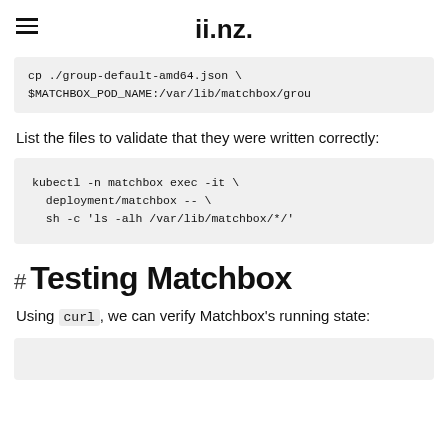ii.nz.
cp ./group-default-amd64.json \
$MATCHBOX_POD_NAME:/var/lib/matchbox/grou
List the files to validate that they were written correctly:
kubectl -n matchbox exec -it \
  deployment/matchbox -- \
  sh -c 'ls -alh /var/lib/matchbox/*/'
# Testing Matchbox
Using curl, we can verify Matchbox's running state: